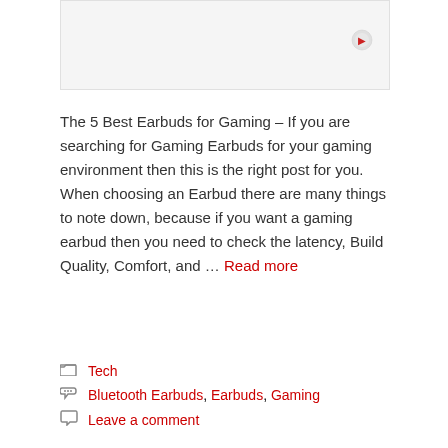[Figure (photo): Thumbnail image placeholder with a small play/media icon in the top right corner]
The 5 Best Earbuds for Gaming – If you are searching for Gaming Earbuds for your gaming environment then this is the right post for you. When choosing an Earbud there are many things to note down, because if you want a gaming earbud then you need to check the latency, Build Quality, Comfort, and … Read more
Tech
Bluetooth Earbuds, Earbuds, Gaming
Leave a comment